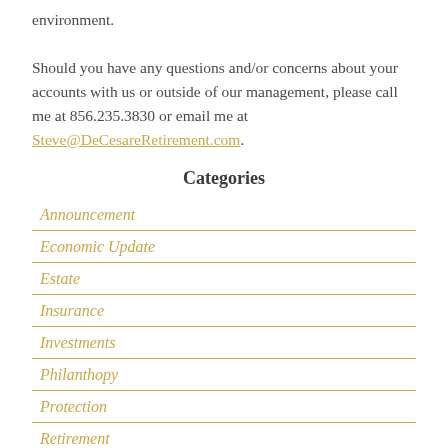environment. Should you have any questions and/or concerns about your accounts with us or outside of our management, please call me at 856.235.3830 or email me at Steve@DeCesareRetirement.com.
Categories
Announcement
Economic Update
Estate
Insurance
Investments
Philanthopy
Protection
Retirement